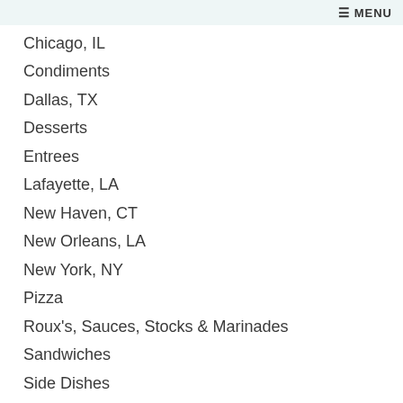≡ MENU
Chicago, IL
Condiments
Dallas, TX
Desserts
Entrees
Lafayette, LA
New Haven, CT
New Orleans, LA
New York, NY
Pizza
Roux's, Sauces, Stocks & Marinades
Sandwiches
Side Dishes
Smoked Meats
Snacks
Soups
Sushi
Tacos